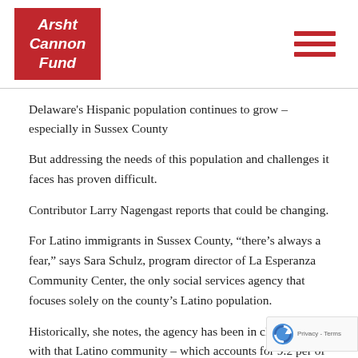[Figure (logo): Arsht Cannon Fund logo — white italic text on red background square]
Delaware's Hispanic population continues to grow – especially in Sussex County
But addressing the needs of this population and challenges it faces has proven difficult.
Contributor Larry Nagengast reports that could be changing.
For Latino immigrants in Sussex County, “there’s always a fear,” says Sara Schulz, program director of La Esperanza Community Center, the only social services agency that focuses solely on the county’s Latino population.
Historically, she notes, the agency has been in close touch with that Latino community – which accounts for 9.2 per of the county’s estimated 225,000 residents. “Maybe it’s